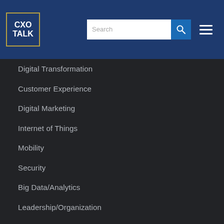CXO TALK
Digital Transformation
Customer Experience
Digital Marketing
Internet of Things
Mobility
Security
Big Data/Analytics
Leadership/Organization
Business Impact
Startups/Entrepreneurship
Business Models
Communication